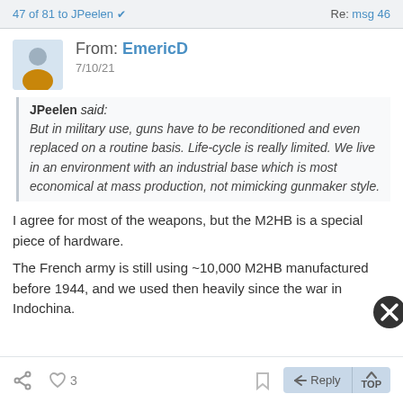47 of 81 to JPeelen ✔   Re: msg 46
From: EmericD
7/10/21
JPeelen said: But in military use, guns have to be reconditioned and even replaced on a routine basis. Life-cycle is really limited. We live in an environment with an industrial base which is most economical at mass production, not mimicking gunmaker style.
I agree for most of the weapons, but the M2HB is a special piece of hardware.
The French army is still using ~10,000 M2HB manufactured before 1944, and we used then heavily since the war in Indochina.
Reply TOP